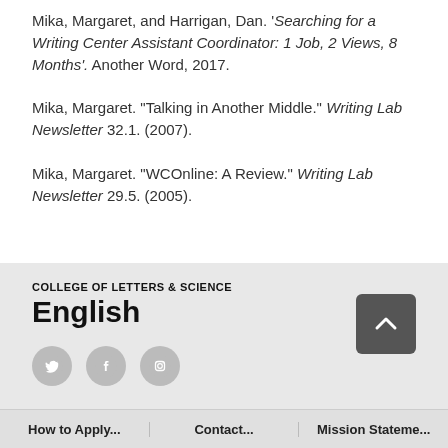Mika, Margaret, and Harrigan, Dan. 'Searching for a Writing Center Assistant Coordinator: 1 Job, 2 Views, 8 Months'. Another Word, 2017.
Mika, Margaret. "Talking in Another Middle." Writing Lab Newsletter 32.1. (2007).
Mika, Margaret. "WCOnline: A Review." Writing Lab Newsletter 29.5. (2005).
COLLEGE OF LETTERS & SCIENCE
English